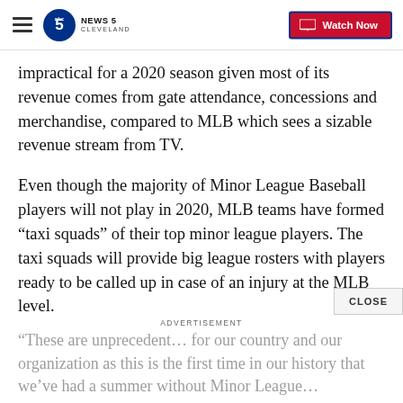NEWS 5 CLEVELAND — Watch Now
impractical for a 2020 season given most of its revenue comes from gate attendance, concessions and merchandise, compared to MLB which sees a sizable revenue stream from TV.
Even though the majority of Minor League Baseball players will not play in 2020, MLB teams have formed “taxi squads” of their top minor league players. The taxi squads will provide big league rosters with players ready to be called up in case of an injury at the MLB level.
ADVERTISEMENT
“These are unprecedent… for our country and our organization as this is the first time in our history that we’ve had a summer without Minor League…